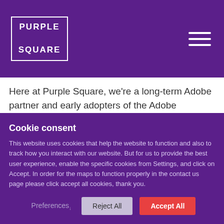PURPLE SQUARE
Here at Purple Square, we're a long-term Adobe partner and early adopters of the Adobe Experience Platform! Our teams are fully certified practitioners and well aware of the potential it holds for all of our clients, from SMB through to Enterprise. If you already hold an Adobe application such as Adobe Campaign, Marketo, Analytics or Assets… reach out
Cookie consent
This website uses cookies that help the website to function and also to track how you interact with our website. But for us to provide the best user experience, enable the specific cookies from Settings, and click on Accept. In order for the maps to function properly in the contact us page please click accept all cookies, thank you.